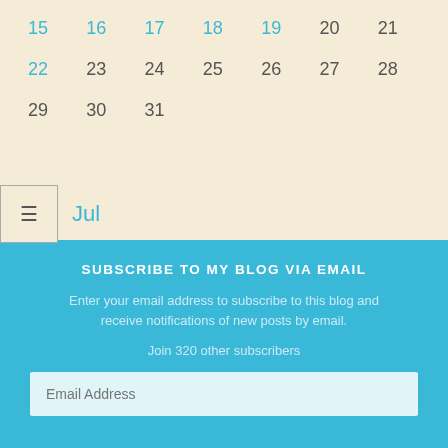| 15 | 16 | 17 | 18 | 19 | 20 | 21 |
| 22 | 23 | 24 | 25 | 26 | 27 | 28 |
| 29 | 30 | 31 |  |  |  |  |
≡  Jul
SUBSCRIBE TO MY BLOG VIA EMAIL
Enter your email address to subscribe to this blog and receive notifications of new posts by email.
Join 320 other subscribers
Email Address